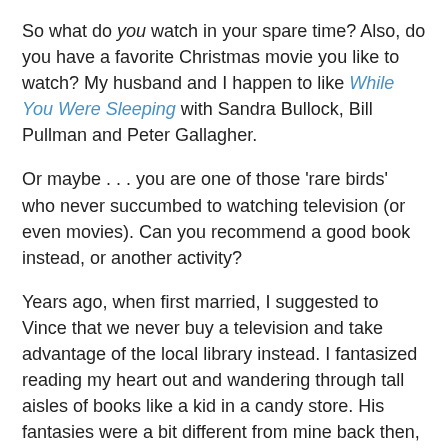So what do you watch in your spare time? Also, do you have a favorite Christmas movie you like to watch? My husband and I happen to like While You Were Sleeping with Sandra Bullock, Bill Pullman and Peter Gallagher.
Or maybe . . . you are one of those 'rare birds' who never succumbed to watching television (or even movies). Can you recommend a good book instead, or another activity?
Years ago, when first married, I suggested to Vince that we never buy a television and take advantage of the local library instead. I fantasized reading my heart out and wandering through tall aisles of books like a kid in a candy store. His fantasies were a bit different from mine back then, to say the least. His mouth dropped . . . he was speechless beyond compare. Who was this 19-year old girl he had just